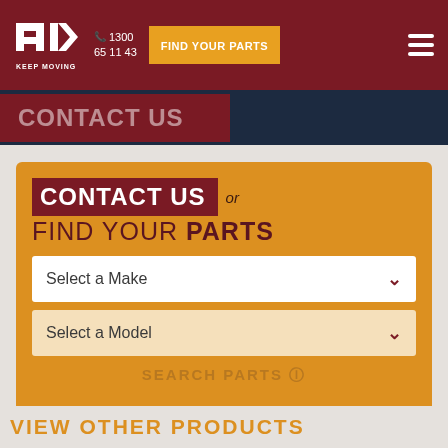[Figure (logo): TKV Keep Moving logo in white on dark red header bar]
1300 65 11 43 | FIND YOUR PARTS
CONTACT US or FIND YOUR PARTS
Select a Make
Select a Model
SEARCH PARTS ⊙
VIEW OTHER PRODUCTS